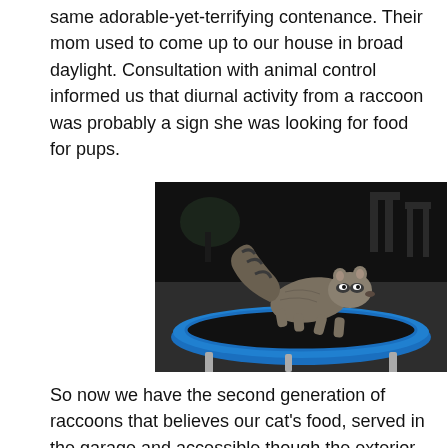same adorable-yet-terrifying contenance. Their mom used to come up to our house in broad daylight. Consultation with animal control informed us that diurnal activity from a raccoon was probably a sign she was looking for food for pups.
[Figure (photo): A raccoon standing on a small blue mini-trampoline at night, photographed outdoors. The raccoon is crouched on the dark trampoline surface, with chairs visible in the dark background.]
So now we have the second generation of raccoons that believes our cat's food, served in the garage and accessible though the exterior cat door, is a fine nightly snack. Before you tell me that it is irresponsable to put cat food out where raccoons can get to it, you should know that there are many arguments in the other which...